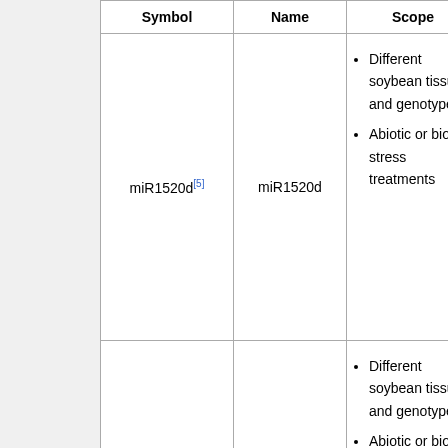| Symbol | Name | Scope |  |
| --- | --- | --- | --- |
| miR1520d[5] | miR1520d | Different soybean tissues and genotypes; Abiotic or biotic stress treatments | N... |
| miR156b[5] | miR156b | Different soybean tissues and genotypes; Abiotic or biotic stress treatments | N... |